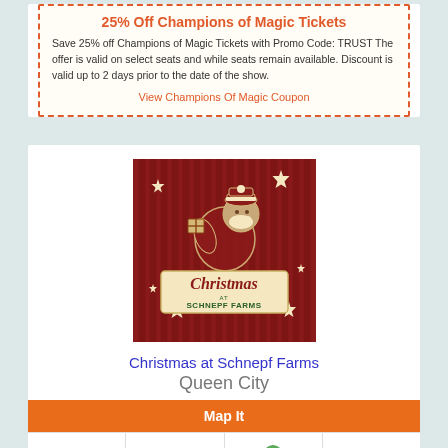25% Off Champions of Magic Tickets
Save 25% off Champions of Magic Tickets with Promo Code: TRUST The offer is valid on select seats and while seats remain available. Discount is valid up to 2 days prior to the date of the show.
View Champions Of Magic Coupon
[Figure (logo): Christmas at Schnepf Farms logo on dark red striped background with vintage Santa Claus illustration and star decorations]
Christmas at Schnepf Farms
Queen City
Map It
Christmas at Schnepf Farms
Phone
Reviews